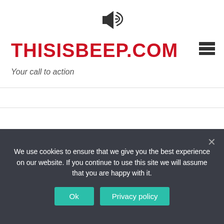[Figure (logo): Megaphone icon with sound lines]
THISISBEEP.COM
[Figure (other): Hamburger menu icon (three horizontal bars)]
Your call to action
HOME | INTERESTING | WHAT IS THE CHORUS TO THE SONG HALLELUJAH?
We use cookies to ensure that we give you the best experience on our website. If you continue to use this site we will assume that you are happy with it.